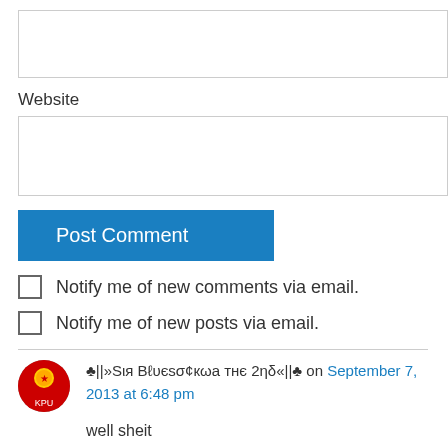[Figure (other): Empty text input box at top of page]
Website
[Figure (other): Empty text input box for website URL]
Post Comment
Notify me of new comments via email.
Notify me of new posts via email.
♣||»Sιя Bℓυєsσ¢кωa тнє 2ηδ«||♣ on September 7, 2013 at 6:48 pm
well sheit